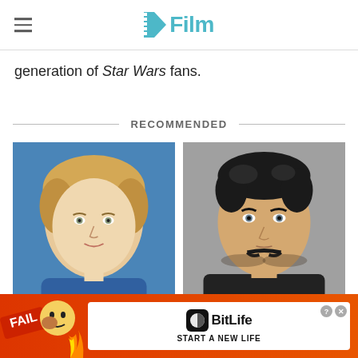/Film
generation of Star Wars fans.
RECOMMENDED
[Figure (photo): Portrait photo of a blonde woman (Anne Heche) at an event, blue background]
[Figure (photo): Portrait photo of a dark-haired man (Henry Cavill) with mustache, grey background]
Anne Heche's Crash Details
It's Clearly No Secret That [Terrible]
[Figure (infographic): BitLife advertisement banner with red background, FAIL emoji, BitLife logo, and 'START A NEW LIFE' text]